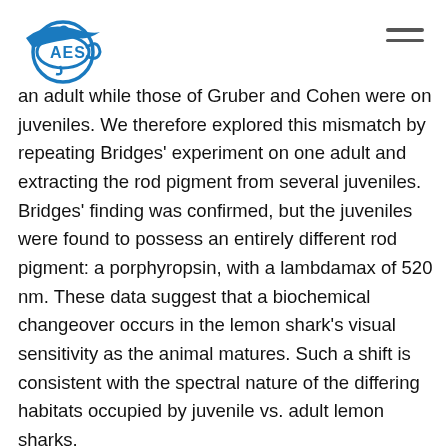[Figure (logo): Blue shark/fish circular logo with text, organization emblem in blue]
an adult while those of Gruber and Cohen were on juveniles. We therefore explored this mismatch by repeating Bridges' experiment on one adult and extracting the rod pigment from several juveniles. Bridges' finding was confirmed, but the juveniles were found to possess an entirely different rod pigment: a porphyropsin, with a lambdamax of 520 nm. These data suggest that a biochemical changeover occurs in the lemon shark's visual sensitivity as the animal matures. Such a shift is consistent with the spectral nature of the differing habitats occupied by juvenile vs. adult lemon sharks.